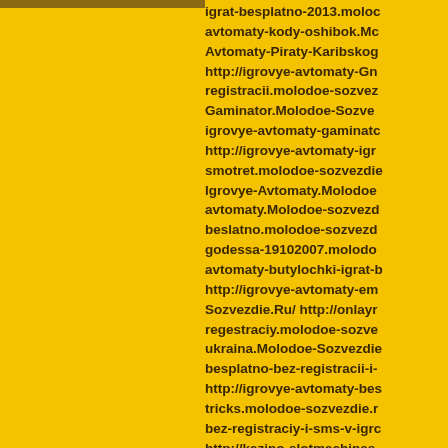igrat-besplatno-2013.molodoe-sozvezdie avtomaty-kody-oshibok.Molodoe- Avtomaty-Piraty-Karibskog http://igrovye-avtomaty-Gn registracii.molodoe-sozvezd Gaminator.Molodoe-Sozve igrovye-avtomaty-gaminato http://igrovye-avtomaty-igr smotret.molodoe-sozvezdic Igrovye-Avtomaty.Molodoe avtomaty.Molodoe-sozvezdc beslatno.molodoe-sozvezd godessa-19102007.molodo avtomaty-butylochki-igrat-b http://igrovye-avtomaty-em Sozvezdie.Ru/ http://onlayr regestraciy.molodoe-sozve ukraina.Molodoe-Sozvezdic besplatno-bez-registracii-i- http://igrovye-avtomaty-bes tricks.molodoe-sozvezdie.r bez-registraciy-i-sms-v-igro http://kazino-slotmachines